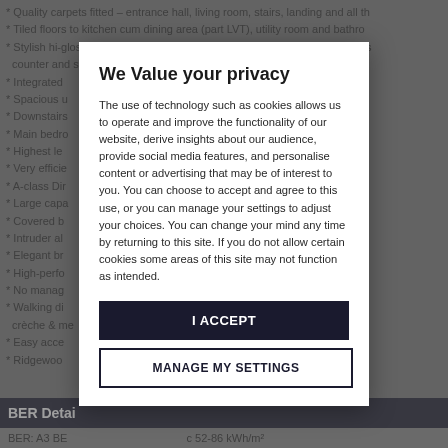* Quality carpets fitted – entrance hall, living room, stairs, landing and all th
* Tiled floors to kitchen cum dining area (part LVT), utility room and bathro
* Stylish hi-gloss kitchen by Nolan Kitchens with soft close doors & drawers counter and storage
* Integrated [partially obscured] ve, fridge freeze
* Spacious u[partially obscured]
* Downstairs [partially obscured]
* Main bedro[partially obscured]
* Highest le[partially obscured]
* Very efficie[partially obscured] and homes
* A-class Dir[partially obscured]
* Large capa[partially obscured]
* Covered b[partially obscured]
* Intruder al[partially obscured]
* Elegant br[partially obscured]
* High-perfo[partially obscured] throughout
* No manag[partially obscured]
* Walking di[partially obscured] utes including S crèche & me[partially obscured]
* Easy acce[partially obscured]
* Ridgewoo[partially obscured]
BER Detai[ls]
BER: A3 BE[R ... c 52-86 kWh/m²]
[Figure (other): Privacy consent modal overlay with title 'We Value your privacy', body text about cookies and technology use, an 'I ACCEPT' button and a 'MANAGE MY SETTINGS' button.]